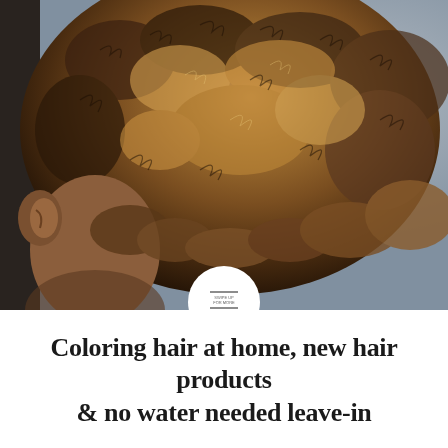[Figure (photo): Close-up back view of a person's head with curly, kinky hair that has golden-brown highlights and natural dark roots. The person's ear is visible on the lower left. Background shows a blurred room interior with grey wall.]
Coloring hair at home, new hair products & no water needed leave-in